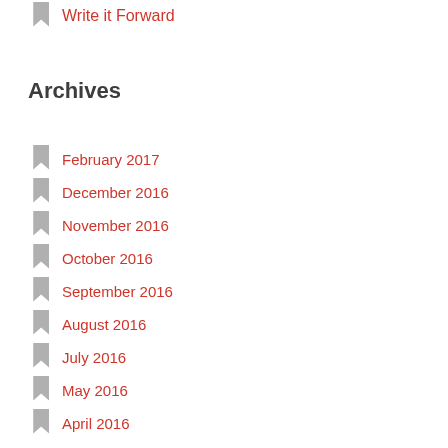Write it Forward
Archives
February 2017
December 2016
November 2016
October 2016
September 2016
August 2016
July 2016
May 2016
April 2016
February 2016
January 2016
December 2015